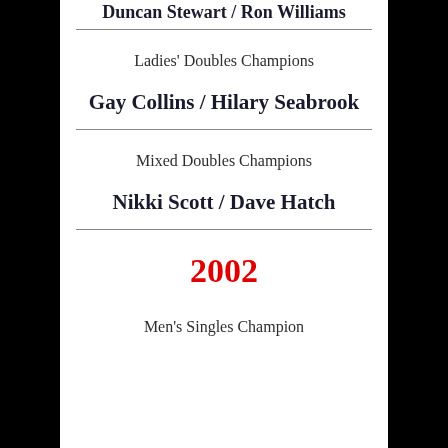Duncan Stewart / Ron Williams
Ladies' Doubles Champions
Gay Collins / Hilary Seabrook
Mixed Doubles Champions
Nikki Scott / Dave Hatch
2002
Men's Singles Champion